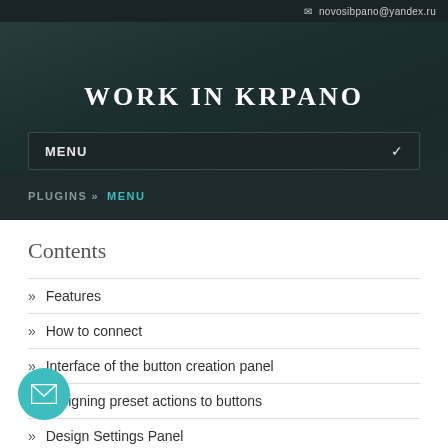novosibpano@yandex.ru
WORK IN KRPANO
MENU
PLUGINS » MENU
Contents
» Features
» How to connect
» Interface of the button creation panel
» Assigning preset actions to buttons
» Design Settings Panel